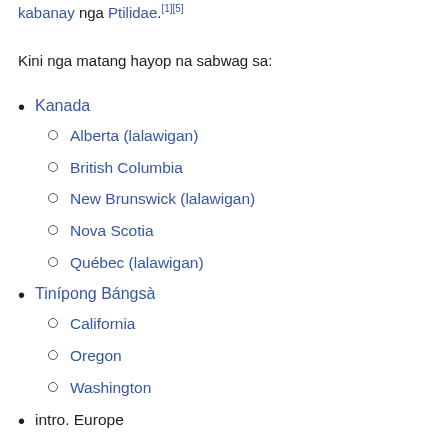kabanay nga Ptilidae.[1][5]
Kini nga matang hayop na sabwag sa:
Kanada
Alberta (lalawigan)
British Columbia
New Brunswick (lalawigan)
Nova Scotia
Québec (lalawigan)
Tinípong Bángsà
California
Oregon
Washington
intro. Europe